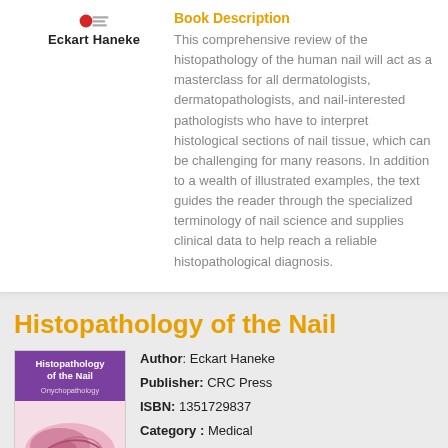Book Description
This comprehensive review of the histopathology of the human nail will act as a masterclass for all dermatologists, dermatopathologists, and nail-interested pathologists who have to interpret histological sections of nail tissue, which can be challenging for many reasons. In addition to a wealth of illustrated examples, the text guides the reader through the specialized terminology of nail science and supplies clinical data to help reach a reliable histopathological diagnosis.
Histopathology of the Nail
Author: Eckart Haneke
Publisher: CRC Press
ISBN: 1351729837
Category : Medical
Languages : en
[Figure (illustration): Book cover of Histopathology of the Nail by Eckart Haneke, showing a purple header with title and a microscopy image of nail tissue]
Pages : 287